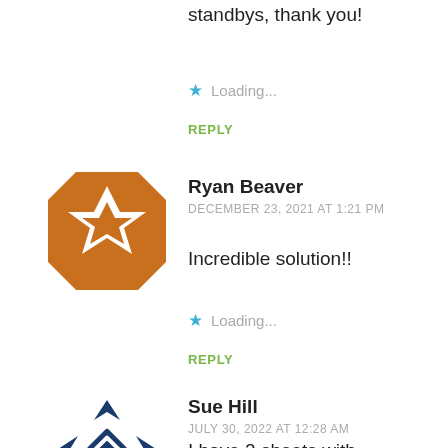standbys, thank you!
Loading...
REPLY
[Figure (illustration): Orange geometric star/snowflake avatar for Ryan Beaver]
Ryan Beaver
DECEMBER 23, 2021 AT 1:21 PM
Incredible solution!!
Loading...
REPLY
[Figure (illustration): Dark blue diamond/cross geometric avatar for Sue Hill]
Sue Hill
JULY 30, 2022 AT 12:28 AM
I have 2 sheets with addresses, trip and